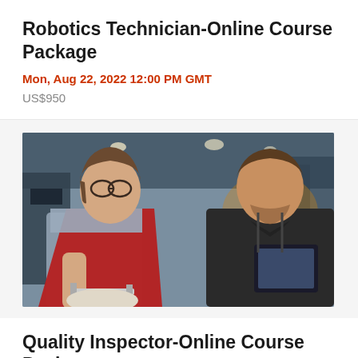Robotics Technician-Online Course Package
Mon, Aug 22, 2022 12:00 PM GMT
US$950
[Figure (photo): Two technicians in an industrial setting looking at a measurement tool. A woman in a red apron and grey shirt wearing glasses examines a part with calipers while a man in a dark shirt holding a tablet watches.]
Quality Inspector-Online Course Package